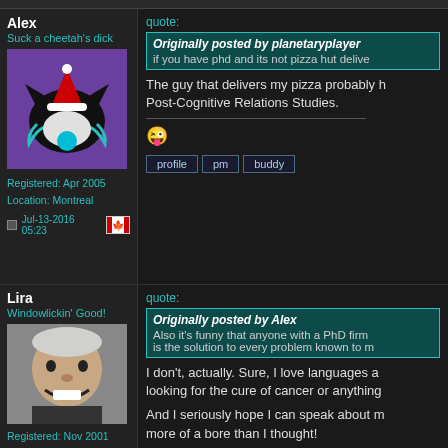Alex
Suck a cheetah’s dick
[Figure (illustration): Forum avatar: Carolina Panthers logo with Santa hat and blue ball, on purple background]
Registered: Apr 2005
Location: Montreal
Jul-13-2016 05:23
quote:
Originally posted by planetaryplayer
if you have phd and its not pizza hut delive
The guy that delivers my pizza probably h Post-Cognitive Relations Studies.
profile  pm  buddy
Lira
Windowlickin’ Good!
[Figure (photo): Forum avatar: elderly man with white hair laughing/grimacing]
Registered: Nov 2001
Location: Seoul, South Korea
Originally from: Brasilia, Brazil
quote:
Originally posted by Alex
Also it's funny that anyone with a PhD firm is the solution to every problem known to m
I don't, actually. Sure, I love languages a looking for the cure of cancer or anything
And I seriously hope I can speak about m more of a bore than I thought!
quote:
quote: